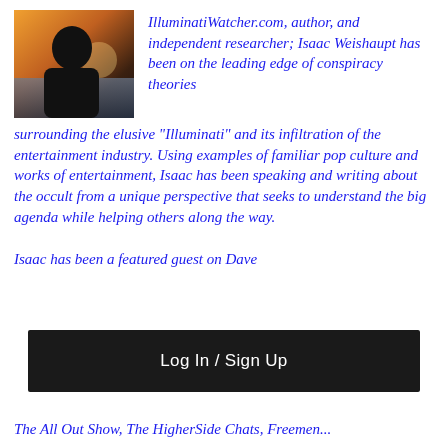[Figure (photo): Headshot photo of a man at sunset/dusk near water, silhouetted with warm orange tones in the background]
IlluminatiWatcher.com, author, and independent researcher; Isaac Weishaupt has been on the leading edge of conspiracy theories surrounding the elusive “Illuminati” and its infiltration of the entertainment industry. Using examples of familiar pop culture and works of entertainment, Isaac has been speaking and writing about the occult from a unique perspective that seeks to understand the big agenda while helping others along the way.
Isaac has been a featured guest on Dave
[Figure (screenshot): Log In / Sign Up button bar]
The All Out Show, The HigherSide Chats, Freemen...